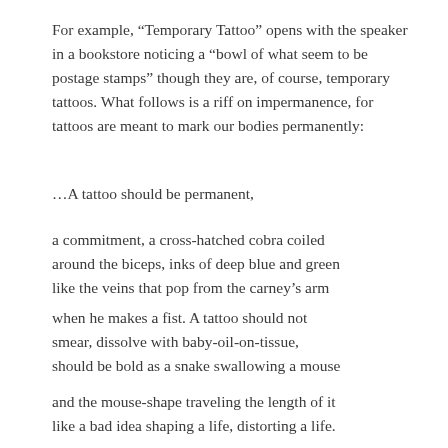For example, “Temporary Tattoo” opens with the speaker in a bookstore noticing a “bowl of what seem to be postage stamps” though they are, of course, temporary tattoos. What follows is a riff on impermanence, for tattoos are meant to mark our bodies permanently:
…A tattoo should be permanent,
a commitment, a cross-hatched cobra coiled
around the biceps, inks of deep blue and green
like the veins that pop from the carney’s arm
when he makes a fist. A tattoo should not
smear, dissolve with baby-oil-on-tissue,
should be bold as a snake swallowing a mouse
and the mouse-shape traveling the length of it
like a bad idea shaping a life, distorting a life.